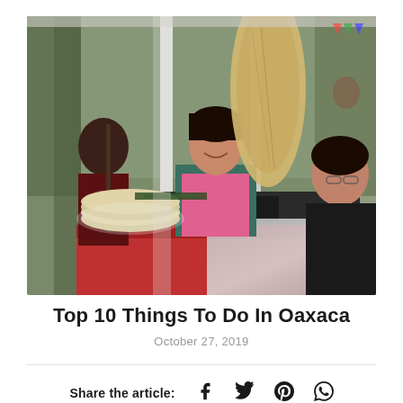[Figure (photo): Street food vendor scene in Oaxaca. A smiling woman in a pink apron and teal shirt tends to a food stall, with a large tortilla or tlayuda visible on the right. Another person works in the background on the left. A man in a dark suit sits on the right eating. The stall has a red counter and various food items. Trees and urban environment in background.]
Top 10 Things To Do In Oaxaca
October 27, 2019
Share the article: